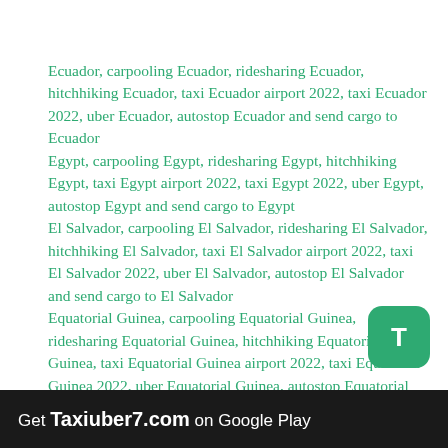Ecuador, carpooling Ecuador, ridesharing Ecuador, hitchhiking Ecuador, taxi Ecuador airport 2022, taxi Ecuador 2022, uber Ecuador, autostop Ecuador and send cargo to Ecuador
Egypt, carpooling Egypt, ridesharing Egypt, hitchhiking Egypt, taxi Egypt airport 2022, taxi Egypt 2022, uber Egypt, autostop Egypt and send cargo to Egypt
El Salvador, carpooling El Salvador, ridesharing El Salvador, hitchhiking El Salvador, taxi El Salvador airport 2022, taxi El Salvador 2022, uber El Salvador, autostop El Salvador and send cargo to El Salvador
Equatorial Guinea, carpooling Equatorial Guinea, ridesharing Equatorial Guinea, hitchhiking Equatorial Guinea, taxi Equatorial Guinea airport 2022, taxi Equatorial Guinea 2022, uber Equatorial Guinea, autostop Equatorial Guinea and send cargo to Equatorial Guinea
Estonia, carpooling Estonia, ridesharing Estonia, hitchhiking Estonia, taxi Estonia airport 2022, taxi Estonia 2022, uber Estonia, autostop Estonia and send
[Figure (other): Green rounded square button with letter T in white]
Get Taxiuber7.com on Google Play